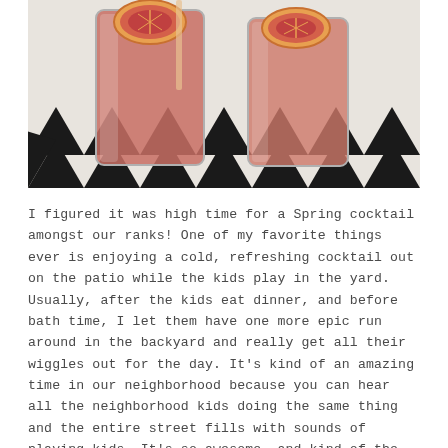[Figure (photo): Overhead photo of two tall glasses with pink/salmon colored cocktails garnished with blood orange slices on a black and white chevron/zigzag patterned surface.]
I figured it was high time for a Spring cocktail amongst our ranks! One of my favorite things ever is enjoying a cold, refreshing cocktail out on the patio while the kids play in the yard. Usually, after the kids eat dinner, and before bath time, I let them have one more epic run around in the backyard and really get all their wiggles out for the day. It's kind of an amazing time in our neighborhood because you can hear all the neighborhood kids doing the same thing and the entire street fills with sounds of playing kids. It's so awesome, and kind of the fantasy I had whenever we decided to